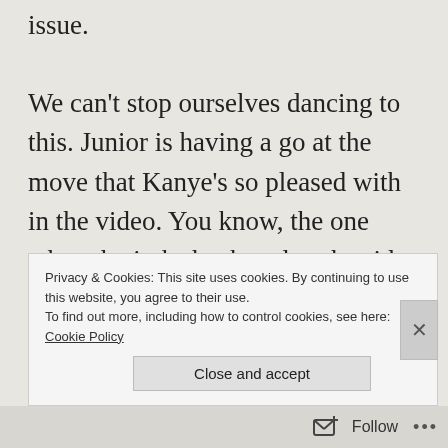issue.

We can't stop ourselves dancing to this. Junior is having a go at the move that Kanye's so pleased with in the video. You know, the one where he jerks back and to the side, elbow leading, as if a particularly appealing lady has just gone by at speed. You can tell that he's practised it in the mirror countless times and has come to the conclusion that he
Privacy & Cookies: This site uses cookies. By continuing to use this website, you agree to their use. To find out more, including how to control cookies, see here: Cookie Policy
Close and accept
Follow